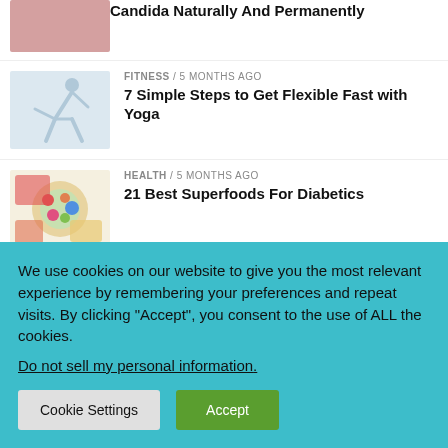[Figure (photo): Close-up photo of candida/fungal infection on skin, pinkish texture]
Candida Naturally And Permanently
FITNESS / 5 months ago
[Figure (photo): Woman in yoga warrior pose wearing blue athletic clothing on white background]
7 Simple Steps to Get Flexible Fast with Yoga
HEALTH / 5 months ago
[Figure (photo): Overhead view of colorful superfood bowls with berries, vegetables and healthy foods]
21 Best Superfoods For Diabetics
HEALTH / 5 months ago
[Figure (photo): Partial view of health article image, teal/blue toned]
We use cookies on our website to give you the most relevant experience by remembering your preferences and repeat visits. By clicking “Accept”, you consent to the use of ALL the cookies.
Do not sell my personal information.